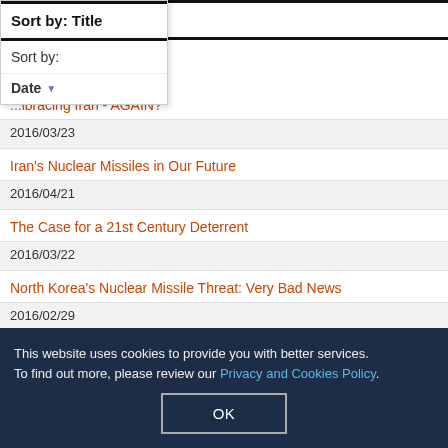Sort by: Title
Sort by: Date (dropdown option)
...ibracing Iran - AGAIN?
2016/03/23
Iran's Nuclear Missiles in Our Future
2016/04/21
The Case for a 21st Century Deterrent
2016/03/22
North Korea's Nuclear Missile Threat: Very Bad News
2016/02/29
The Real Cost of Nuclear Deterrence
2016/02/08
Electronic Doomsday for the U.S.
2016/01/13
This website uses cookies to provide you with better services. To find out more, please review our Privacy and Cookies Policy.